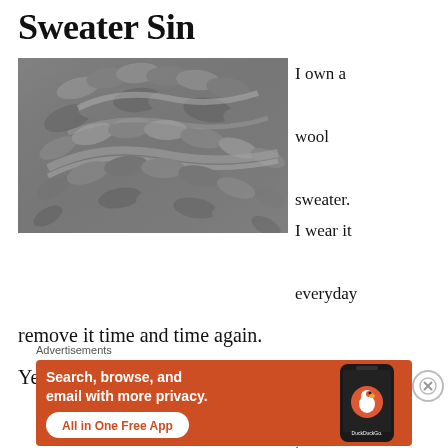Sweater Sin
[Figure (photo): Close-up black and white photo of knitted wool sweater texture showing braided cable knit pattern]
I own a wool sweater. I wear it everyday. I've tried to remove it time and time again.
Yet it...
Advertisements
[Figure (infographic): DuckDuckGo advertisement banner with orange background. Text reads: Search, browse, and email with more privacy. All in One Free App. Shows DuckDuckGo app on a smartphone.]